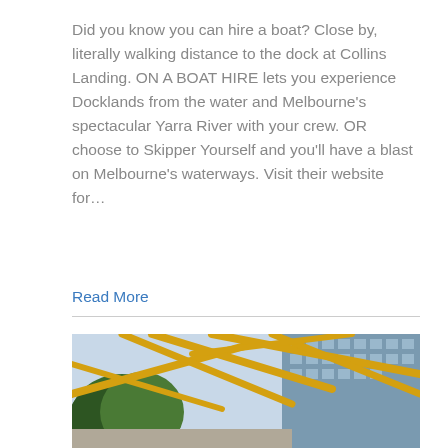Did you know you can hire a boat? Close by, literally walking distance to the dock at Collins Landing. ON A BOAT HIRE lets you experience Docklands from the water and Melbourne's spectacular Yarra River with your crew. OR choose to Skipper Yourself and you'll have a blast on Melbourne's waterways. Visit their website for…
Read More
[Figure (photo): Photograph of a modern urban precinct featuring striking yellow angular structural beams/framework overhead, with lush green trees and a glass office building in the background.]